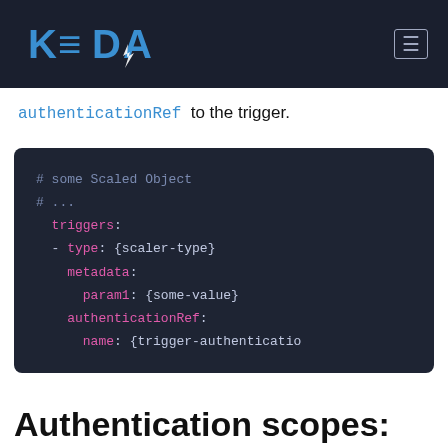KEDA
authenticationRef to the trigger.
[Figure (screenshot): Dark-themed code block showing YAML configuration with triggers, type, metadata, param1, authenticationRef, and name fields]
Authentication scopes: